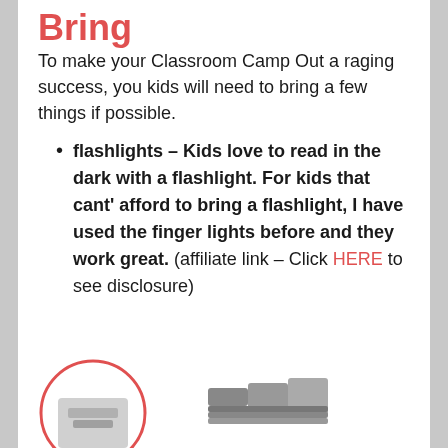Bring
To make your Classroom Camp Out a raging success, you kids will need to bring a few things if possible.
flashlights – Kids love to read in the dark with a flashlight. For kids that cant' afford to bring a flashlight, I have used the finger lights before and they work great. (affiliate link – Click HERE to see disclosure)
[Figure (photo): Bottom of page showing partial images of flashlight-related products cropped at page edge]